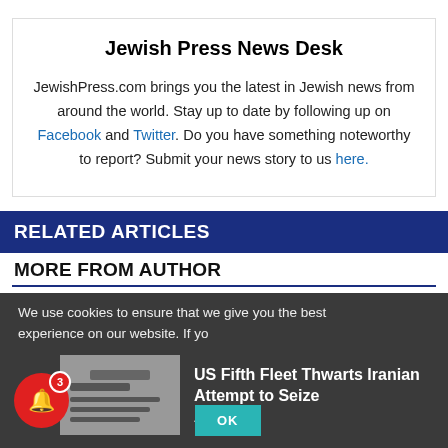Jewish Press News Desk
JewishPress.com brings you the latest in Jewish news from around the world. Stay up to date by following up on Facebook and Twitter. Do you have something noteworthy to report? Submit your news story to us here.
RELATED ARTICLES
MORE FROM AUTHOR
We use cookies to ensure that we give you the best experience on our website. If yo
US Fifth Fleet Thwarts Iranian Attempt to Seize
2 hours ago